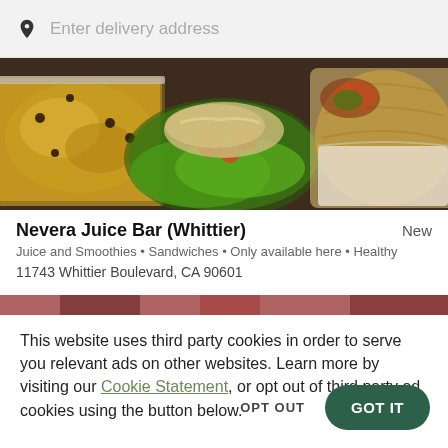Enter delivery address
[Figure (photo): Food photo showing rice dish, salad with lettuce and tomatoes, and a wrapped burrito/sandwich on a dark surface]
Nevera Juice Bar (Whittier)
New
Juice and Smoothies • Sandwiches • Only available here • Healthy
11743 Whittier Boulevard, CA 90601
This website uses third party cookies in order to serve you relevant ads on other websites. Learn more by visiting our Cookie Statement, or opt out of third party ad cookies using the button below.